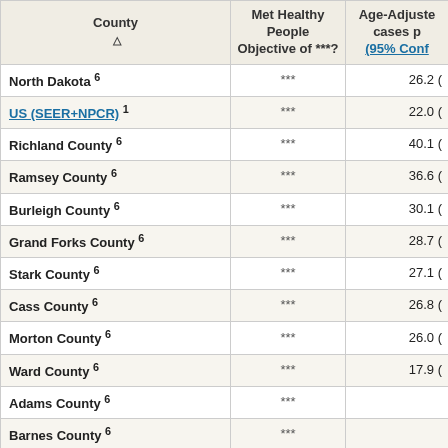| County △ | Met Healthy People Objective of ***? | Age-Adjusted cases p (95% Conf... |
| --- | --- | --- |
| North Dakota 6 | *** | 26.2 ( |
| US (SEER+NPCR) 1 | *** | 22.0 ( |
| Richland County 6 | *** | 40.1 ( |
| Ramsey County 6 | *** | 36.6 ( |
| Burleigh County 6 | *** | 30.1 ( |
| Grand Forks County 6 | *** | 28.7 ( |
| Stark County 6 | *** | 27.1 ( |
| Cass County 6 | *** | 26.8 ( |
| Morton County 6 | *** | 26.0 ( |
| Ward County 6 | *** | 17.9 ( |
| Adams County 6 | *** |  |
| Barnes County 6 | *** |  |
| Benson County 6 | *** |  |
| Billings County 6 | *** |  |